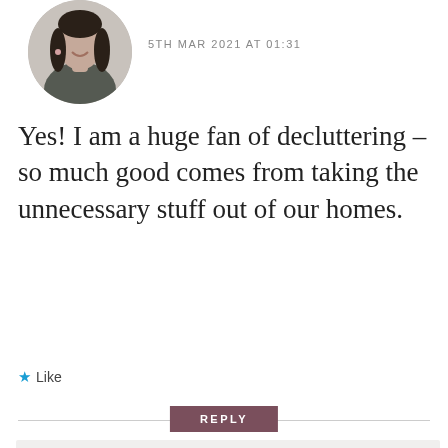[Figure (photo): Circular avatar photo of a woman with dark hair wearing a dark top, smiling]
5TH MAR 2021 AT 01:31
Yes! I am a huge fan of decluttering – so much good comes from taking the unnecessary stuff out of our homes.
★ Like
REPLY
[Figure (logo): Big Girl Big City logo — circular outline with city skyline silhouette in gold lines, text BIG GIRL BIG CITY below]
Author
5TH MAR 2021 AT 11:35
I usually do it whenever I move (which happens